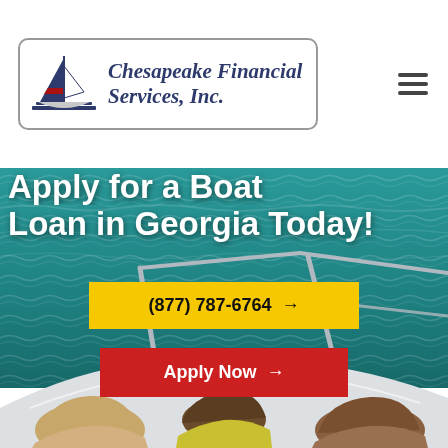[Figure (logo): Chesapeake Financial Services, Inc. logo with sailboat icon in a rounded rectangle border]
Apply for a Boat Loan in Georgia Today!
(877) 787-6764 →
Apply Now →
[Figure (photo): Three people viewed from behind sitting on the bow of a white boat on teal water, with boat railings visible]